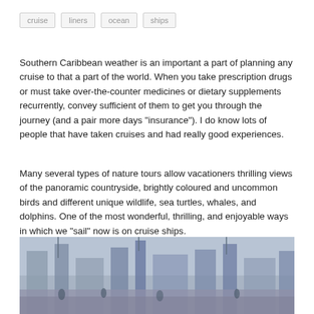cruise
liners
ocean
ships
Southern Caribbean weather is an important a part of planning any cruise to that a part of the world. When you take prescription drugs or must take over-the-counter medicines or dietary supplements recurrently, convey sufficient of them to get you through the journey (and a pair more days “insurance”). I do know lots of people that have taken cruises and had really good experiences.
Many several types of nature tours allow vacationers thrilling views of the panoramic countryside, brightly coloured and uncommon birds and different unique wildlife, sea turtles, whales, and dolphins. One of the most wonderful, thrilling, and enjoyable ways in which we “sail” now is on cruise ships.
[Figure (photo): Black and white or muted blue-toned photograph of cruise ships or ocean liners at port, partially visible at the bottom of the page.]